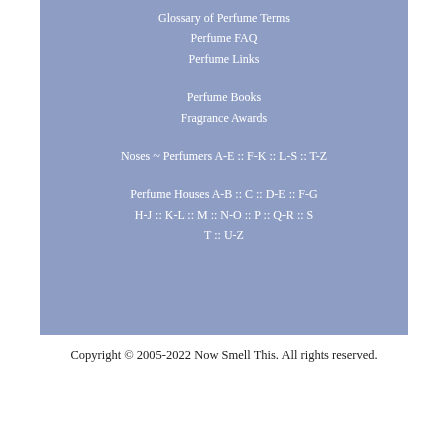Glossary of Perfume Terms
Perfume FAQ
Perfume Links
Perfume Books
Fragrance Awards
Noses ~ Perfumers A-E :: F-K :: L-S :: T-Z
Perfume Houses A-B :: C :: D-E :: F-G
H-J :: K-L :: M :: N-O :: P :: Q-R :: S
T :: U-Z
Copyright © 2005-2022 Now Smell This. All rights reserved.